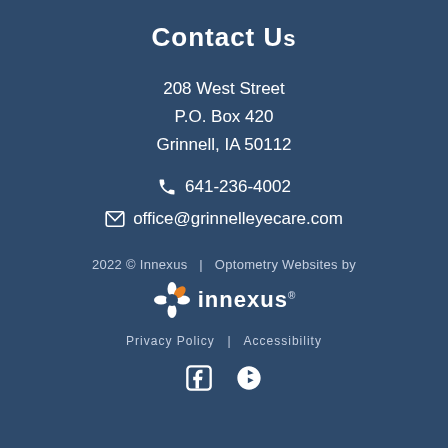Contact Us
208 West Street
P.O. Box 420
Grinnell, IA 50112
📞 641-236-4002
✉ office@grinnelleyecare.com
2022 © Innexus | Optometry Websites by Innexus
Privacy Policy | Accessibility
[Figure (logo): Innexus logo with orange and white gear/arrow icon and 'innexus' text]
[Figure (illustration): Facebook and Yelp social media icons]